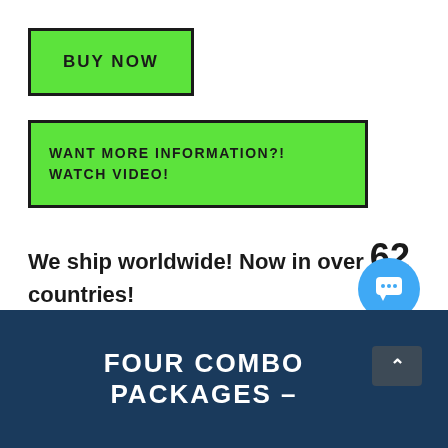[Figure (other): Green button with bold uppercase text 'BUY NOW' with dark border]
[Figure (other): Green button with bold uppercase text 'WANT MORE INFORMATION?! WATCH VIDEO!' with dark border]
We ship worldwide! Now in over 62 countries!
[Figure (other): Blue circular chat/message icon button]
FOUR COMBO PACKAGES –
[Figure (other): Dark grey scroll-to-top button with upward caret arrow]